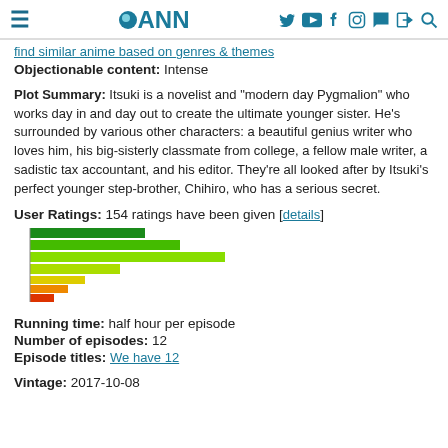ANN
find similar anime based on genres & themes
Objectionable content: Intense
Plot Summary: Itsuki is a novelist and "modern day Pygmalion" who works day in and day out to create the ultimate younger sister. He's surrounded by various other characters: a beautiful genius writer who loves him, his big-sisterly classmate from college, a fellow male writer, a sadistic tax accountant, and his editor. They're all looked after by Itsuki's perfect younger step-brother, Chihiro, who has a serious secret.
User Ratings: 154 ratings have been given [details]
[Figure (bar-chart): Horizontal bar chart showing rating distribution with bars of different colors: dark green, green, lime green (longest), yellow-green, yellow, orange, red-orange]
Running time: half hour per episode
Number of episodes: 12
Episode titles: We have 12
Vintage: 2017-10-08